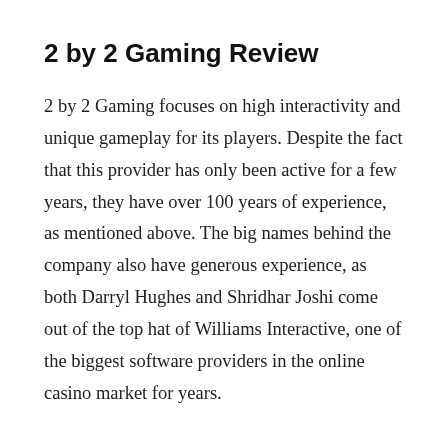2 by 2 Gaming Review
2 by 2 Gaming focuses on high interactivity and unique gameplay for its players. Despite the fact that this provider has only been active for a few years, they have over 100 years of experience, as mentioned above. The big names behind the company also have generous experience, as both Darryl Hughes and Shridhar Joshi come out of the top hat of Williams Interactive, one of the biggest software providers in the online casino market for years.